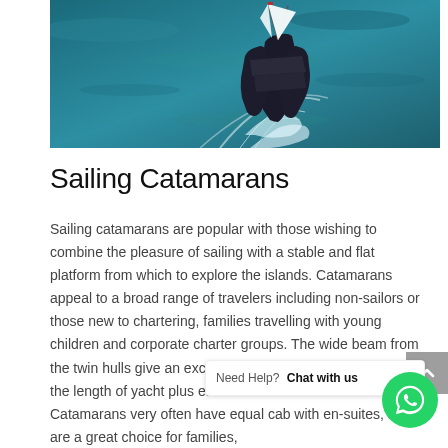[Figure (photo): Aerial view of a sailing catamaran on blue-green water, photographed from above and behind]
Sailing Catamarans
Sailing catamarans are popular with those wishing to combine the pleasure of sailing with a stable and flat platform from which to explore the islands. Catamarans appeal to a broad range of travelers including non-sailors or those new to chartering, families travelling with young children and corporate charter groups. The wide beam from the twin hulls give an excellent amount of living space for the length of yacht plus ea... the decks. Catamarans very often have equal cab... with en-suites, so are a great choice for families,